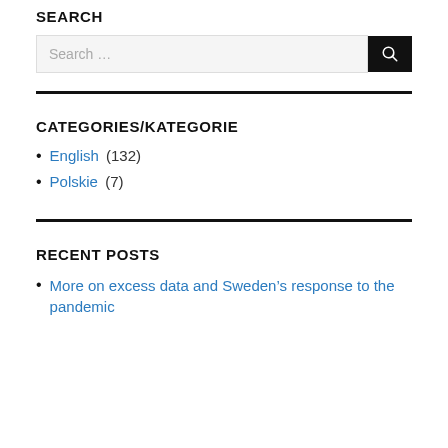SEARCH
[Figure (other): Search input box with search button]
CATEGORIES/KATEGORIE
English (132)
Polskie (7)
RECENT POSTS
More on excess data and Sweden's response to the pandemic